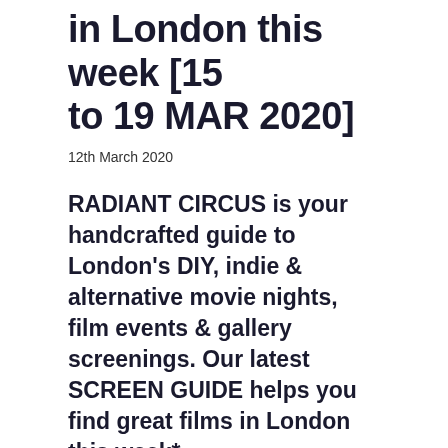in London this week [15 to 19 MAR 2020]
12th March 2020
RADIANT CIRCUS is your handcrafted guide to London's DIY, indie & alternative movie nights, film events & gallery screenings. Our latest SCREEN GUIDE helps you find great films in London this week*.
FRI 13 // SAT 14 // SUN 15 // MON 16 // TUE 17 // WED